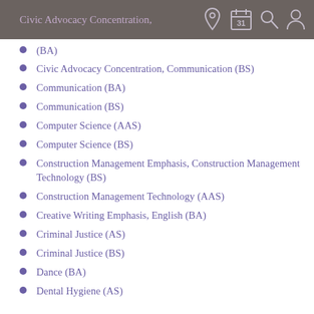Civic Advocacy Concentration, Communication (BA)
Civic Advocacy Concentration, Communication (BS)
Communication (BA)
Communication (BS)
Computer Science (AAS)
Computer Science (BS)
Construction Management Emphasis, Construction Management Technology (BS)
Construction Management Technology (AAS)
Creative Writing Emphasis, English (BA)
Criminal Justice (AS)
Criminal Justice (BS)
Dance (BA)
Dental Hygiene (AS)